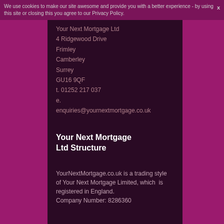Your Next Mortgage Ltd
We use cookies to make our site awesome and provide you with a better experience - by using this site or closing this you agree to our Privacy Policy.
Your Next Mortgage Ltd
4 Ridgewood Drive
Frimley
Camberley
Surrey
GU16 9QF
t. 01252 217 037
e.
enquiries@yournextmortgage.co.uk
Your Next Mortgage Ltd Structure
YourNextMortgage.co.uk is a trading style of Your Next Mortgage Limited, which is registered in England. Company Number: 8286360